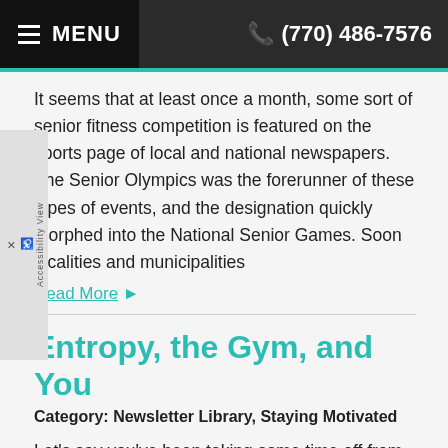MENU  (770) 486-7576
It seems that at least once a month, some sort of senior fitness competition is featured on the sports page of local and national newspapers. The Senior Olympics was the forerunner of these types of events, and the designation quickly morphed into the National Senior Games. Soon localities and municipalities
Read More ▶
Entropy, the Gym, and You
Category: Newsletter Library, Staying Motivated
Let's say you've been taking some time off from the gym. Maybe you reached the end of your 12-week training cycle and you're taking a week off. It's possible that one week